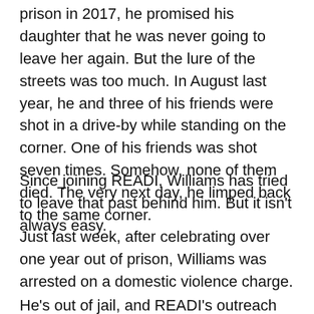prison in 2017, he promised his daughter that he was never going to leave her again. But the lure of the streets was too much. In August last year, he and three of his friends were shot in a drive-by while standing on the corner. One of his friends was shot seven times. Somehow, none of them died. The very next day, he limped back to the same corner.
Since joining READI, Williams has tried to leave that past behind him. But it isn't always easy.
Just last week, after celebrating over one year out of prison, Williams was arrested on a domestic violence charge.
He's out of jail, and READI's outreach team is now